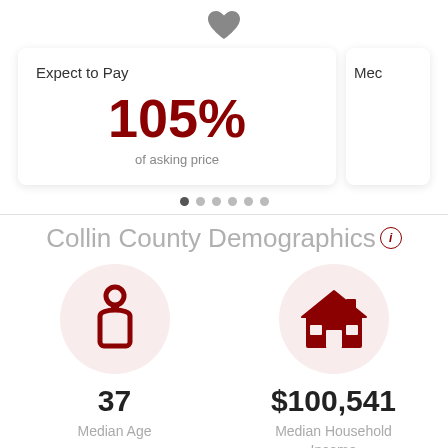[Figure (illustration): Dark gray heart icon centered at top of page]
Expect to Pay
Mec
105%
of asking price
[Figure (infographic): Six pagination dots, first dot filled dark, rest light gray]
Collin County Demographics ⓘ
[Figure (illustration): Person/person icon in dark red inside a light pink circle]
37
Median Age
[Figure (illustration): House icon in dark red inside a light pink circle]
$100,541
Median Household Income